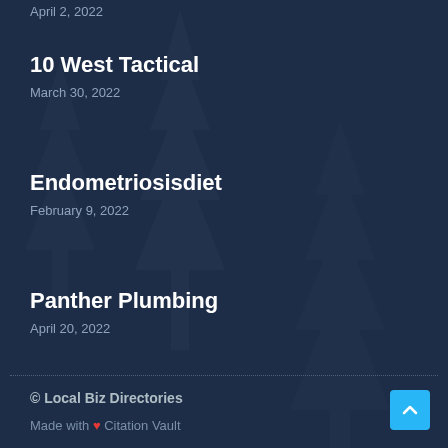April 2, 2022
10 West Tactical
March 30, 2022
Endometriosisdiet
February 9, 2022
Panther Plumbing
April 20, 2022
© Local Biz Directories
Made with ♥ Citation Vault